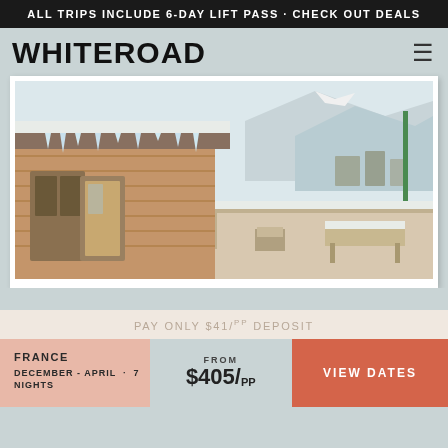ALL TRIPS INCLUDE 6-DAY LIFT PASS · CHECK OUT DEALS
WHITEROAD
[Figure (photo): Snow-covered wooden chalet exterior with icicles hanging from roof, wooden deck with snow-laden furniture, and alpine ski resort village visible in background]
PAY ONLY $41/pp DEPOSIT
FRANCE
DECEMBER - APRIL · 7 NIGHTS
FROM $405/pp
VIEW DATES